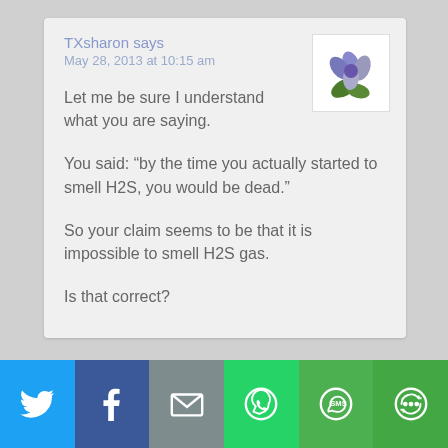TXsharon says
May 28, 2013 at 10:15 am
[Figure (photo): Avatar image of a blue/purple flower with green leaves on white background]
Let me be sure I understand what you are saying.
You said: “by the time you actually started to smell H2S, you would be dead.”
So your claim seems to be that it is impossible to smell H2S gas.
Is that correct?
[Figure (infographic): Social share bar with Twitter, Facebook, Email, WhatsApp, SMS, and More buttons]